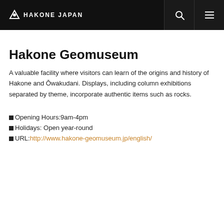HAKONE JAPAN
Hakone Geomuseum
A valuable facility where visitors can learn of the origins and history of Hakone and Ōwakudani. Displays, including column exhibitions separated by theme, incorporate authentic items such as rocks.
■Opening Hours:9am-4pm
■Holidays: Open year-round
■URL:http://www.hakone-geomuseum.jp/english/